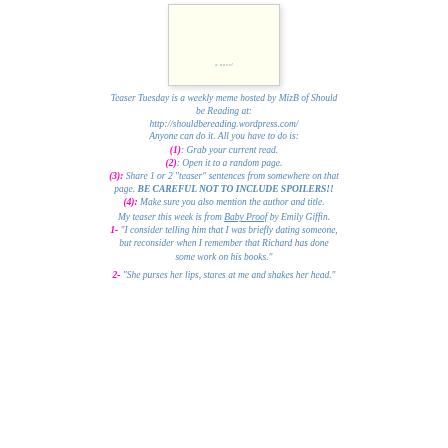[Figure (illustration): Book cover image - pale yellow/cream cover with small text 'a novel' in teal/blue]
Teaser Tuesday is a weekly meme hosted by MizB of Should be Reading at: http://shouldbereading.wordpress.com/ Anyone can do it. All you have to do is:
(1): Grab your current read.
(2): Open it to a random page.
(3): Share 1 or 2 "teaser" sentences from somewhere on that page. BE CAREFUL NOT TO INCLUDE SPOILERS!!
(4): Make sure you also mention the author and title.
My teaser this week is from Baby Proof by Emily Giffin.
1- "I consider telling him that I was briefly dating someone, but reconsider when I remember that Richard has done some work on his books."
2- "She purses her lips, stares at me and shakes her head."